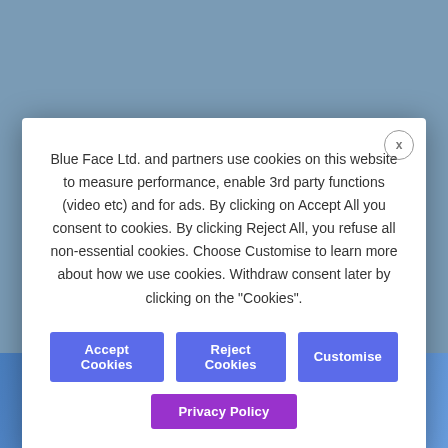blueface. A COMCAST BUSINESS COMPANY
Blue Face Ltd. and partners use cookies on this website to measure performance, enable 3rd party functions (video etc) and for ads. By clicking on Accept All you consent to cookies. By clicking Reject All, you refuse all non-essential cookies. Choose Customise to learn more about how we use cookies. Withdraw consent later by clicking on the "Cookies".
Accept Cookies | Reject Cookies | Customise
Privacy Policy
GET A QUOTE
"It's been just over 3-years since we